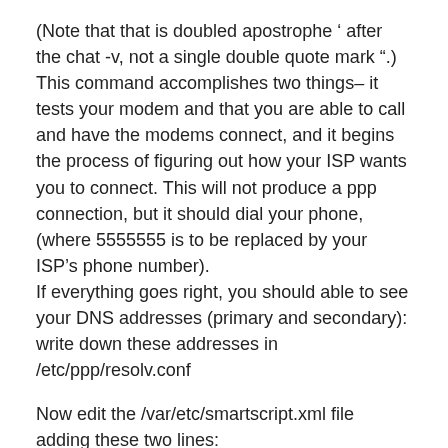(Note that that is doubled apostrophe ‘ after the chat -v, not a single double quote mark “.)
This command accomplishes two things– it tests your modem and that you are able to call and have the modems connect, and it begins the process of figuring out how your ISP wants you to connect. This will not produce a ppp connection, but it should dial your phone, (where 5555555 is to be replaced by your ISP’s phone number).
If everything goes right, you should able to see your DNS addresses (primary and secondary): write down these addresses in /etc/ppp/resolv.conf
Now edit the /var/etc/smartscript.xml file adding these two lines:
<script name="gprs_start" description="Start Connection via GPRS" filename="/var/bin/gprs_script.sh start" osdinfo="y" showerr="y" />